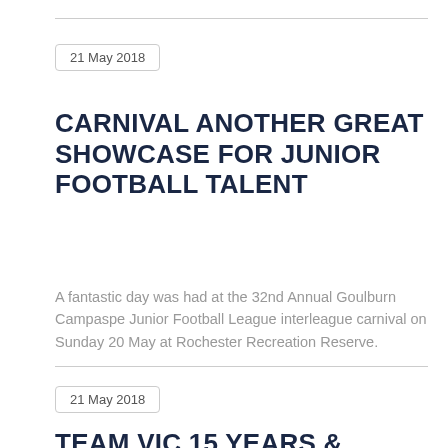21 May 2018
CARNIVAL ANOTHER GREAT SHOWCASE FOR JUNIOR FOOTBALL TALENT
A fantastic day was had at the 32nd Annual Goulburn Campaspe Junior Football League interleague carnival on Sunday 20 May at Rochester Recreation Reserve.
21 May 2018
TEAM VIC 15 YEARS & UNDER BOYS AUSTRALIAN FOOTBALL